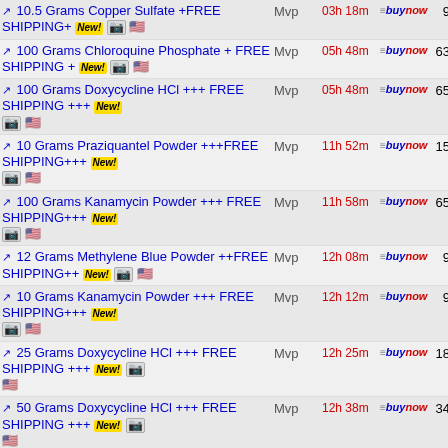10.5 Grams Copper Sulfate +FREE SHIPPING+ New! | Mvp | 03h 18m | buynow | 9.99
100 Grams Chloroquine Phosphate + FREE SHIPPING + New! | Mvp | 05h 48m | buynow | 63.99
100 Grams Doxycycline HCl +++ FREE SHIPPING +++ New! | Mvp | 05h 48m | buynow | 65.99
10 Grams Praziquantel Powder +++FREE SHIPPING+++ New! | Mvp | 11h 52m | buynow | 15.00
100 Grams Kanamycin Powder +++ FREE SHIPPING+++ New! | Mvp | 11h 58m | buynow | 65.00
12 Grams Methylene Blue Powder ++FREE SHIPPING++ New! | Mvp | 12h 08m | buynow | 9.99
10 Grams Kanamycin Powder +++ FREE SHIPPING+++ New! | Mvp | 12h 12m | buynow | 9.99
25 Grams Doxycycline HCl +++ FREE SHIPPING +++ New! | Mvp | 12h 25m | buynow | 18.99
50 Grams Doxycycline HCl +++ FREE SHIPPING +++ New! | Mvp | 12h 38m | buynow | 34.99
100 Grams Metronidazole Powder ***FREE SHIPPING*** | Mvp | 12h 58m | buynow | 39.99